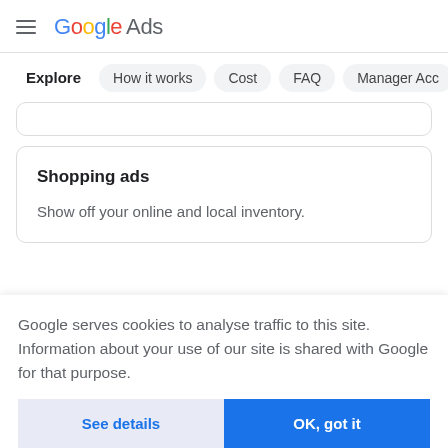Google Ads
Explore   How it works   Cost   FAQ   Manager Acco
Shopping ads
Show off your online and local inventory.
Google serves cookies to analyse traffic to this site. Information about your use of our site is shared with Google for that purpose.
See details
OK, got it